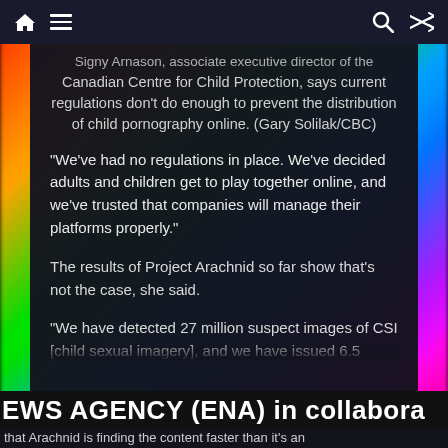Navigation bar with home, menu, search, and shuffle icons
Signy Arnason, associate executive director of the Canadian Centre for Child Protection, says current regulations don't do enough to prevent the distribution of child pornography online. (Gary Solilak/CBC)
“We’ve had no regulations in place. We’ve decided adults and children get to play together online, and we’ve trusted that companies will manage their platforms properly.”
The results of Project Arachnid so far show that’s not the case, she said.
“We have detected 27 million suspect images of CSI [child sexual imagery], and we have issued 6.5 million
EWS AGENCY (ENA) in collabora
that Arachnid is finding the content faster than it’s an